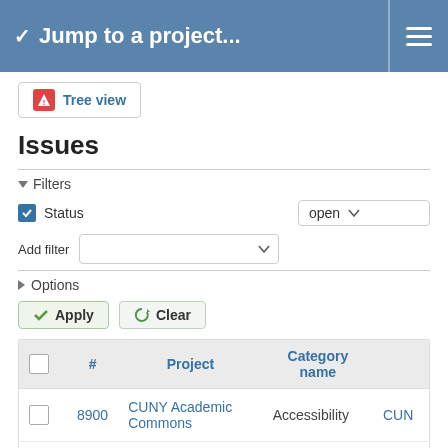Jump to a project...
Tree view
Issues
Filters
Status — open
Add filter
Options
Apply   Clear
|  | # | Project | Category name |  |
| --- | --- | --- | --- | --- |
|  | 8900 | CUNY Academic Commons | Accessibility | CUN |
|  | 8901 | CUNY Academic Commons | Accessibility | CUN |